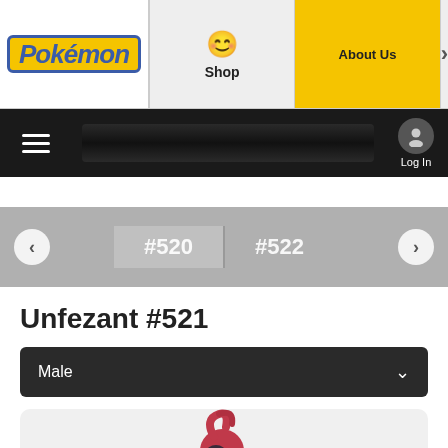Pokémon — Shop | About Us
[Figure (screenshot): Pokémon website navigation bar with logo, Shop, About Us, and hamburger menu with Log In]
#520 #522
Unfezant #521
Male
[Figure (illustration): Unfezant male Pokémon illustration — a pink/red bird Pokémon with dark markings and a yellow beak]